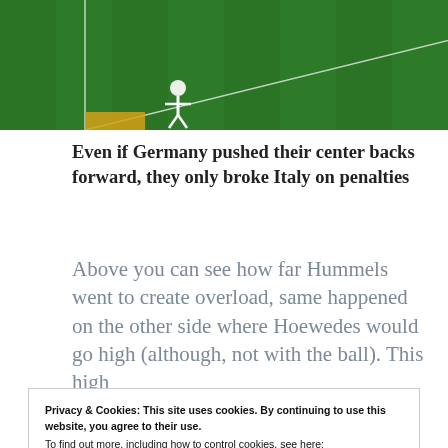[Figure (screenshot): Soccer field screenshot showing player 'Hummels' labeled on the pitch with white jersey player visible]
Even if Germany pushed their center backs forward, they only broke Italy on penalties
Above you can see how far Hummels went to create overload, same happened on the other side where Hoewedes would go high (although, not with the ball). This high
Privacy & Cookies: This site uses cookies. By continuing to use this website, you agree to their use.
To find out more, including how to control cookies, see here:
Cookie Policy
Close and accept
scored due to overload on left and cut back